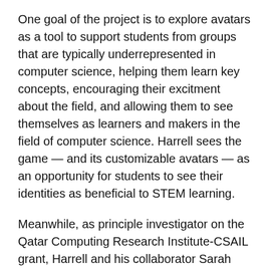One goal of the project is to explore avatars as a tool to support students from groups that are typically underrepresented in computer science, helping them learn key concepts, encouraging their excitment about the field, and allowing them to see themselves as learners and makers in the field of computer science. Harrell sees the game — and its customizable avatars — as an opportunity for students to see their identities as beneficial to STEM learning.
Meanwhile, as principle investigator on the Qatar Computing Research Institute-CSAIL grant, Harrell and his collaborator Sarah Vieweg at QCRI will examine the complex relationships between real